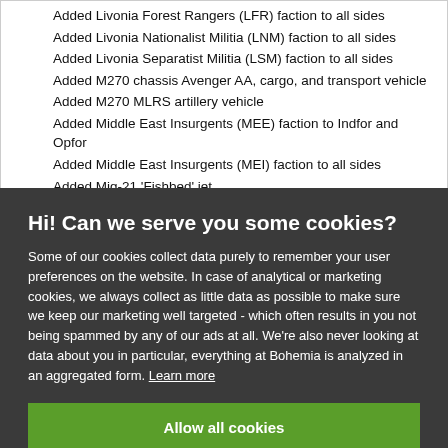Added Livonia Forest Rangers (LFR) faction to all sides
Added Livonia Nationalist Militia (LNM) faction to all sides
Added Livonia Separatist Militia (LSM) faction to all sides
Added M270 chassis Avenger AA, cargo, and transport vehicle
Added M270 MLRS artillery vehicle
Added Middle East Insurgents (MEE) faction to Indfor and Opfor
Added Middle East Insurgents (MEI) faction to all sides
Added Mig-21 'Fishbed' jet
Hi! Can we serve you some cookies?
Some of our cookies collect data purely to remember your user preferences on the website. In case of analytical or marketing cookies, we always collect as little data as possible to make sure we keep our marketing well targeted - which often results in you not being spammed by any of our ads at all. We're also never looking at data about you in particular, everything at Bohemia is analyzed in an aggregated form. Learn more
Allow all cookies
I want more options